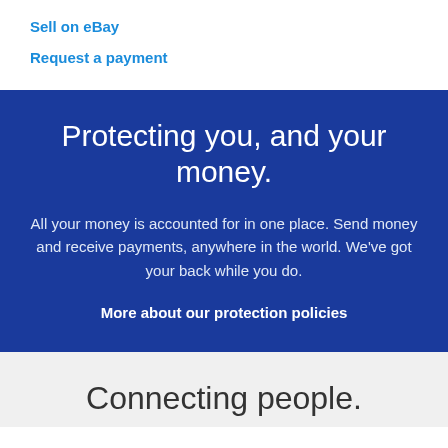Sell on eBay
Request a payment
Protecting you, and your money.
All your money is accounted for in one place. Send money and receive payments, anywhere in the world. We've got your back while you do.
More about our protection policies
Connecting people.